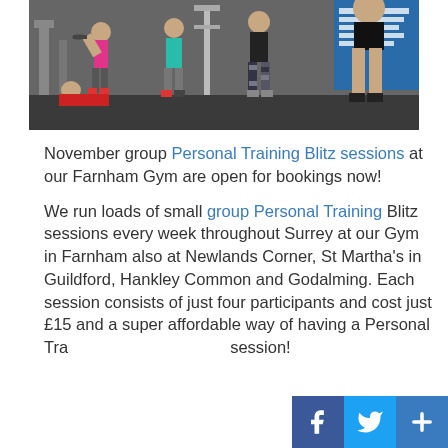[Figure (photo): Group fitness class in a gym; several women exercising with weights and equipment, one person lying on the floor doing a workout, blue banner on the right wall with text about fitness classes.]
November group Personal Training Blitz sessions at our Farnham Gym are open for bookings now!

We run loads of small group Personal Training Blitz sessions every week throughout Surrey at our Gym in Farnham also at Newlands Corner, St Martha's in Guildford, Hankley Common and Godalming. Each session consists of just four participants and cost just £15 and a super affordable way of having a Personal Training session!